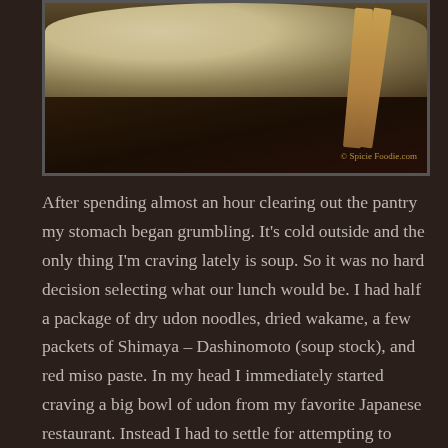[Figure (photo): A bowl of udon noodle soup with chopsticks resting beside it on a dark wooden surface. The image has a watermark reading '© Spicie Foodie.com' in the lower right corner.]
After spending almost an hour clearing out the pantry my stomach began grumbling. It's cold outside and the only thing I'm craving lately is soup. So it was no hard decision selecting what our lunch would be. I had half a package of dry udon noodles, dried wakame, a few packets of Shimaya – Dashinomoto (soup stock), and red miso paste. In my head I immediately started craving a big bowl of udon from my favorite Japanese restaurant. Instead I had to settle for attempting to make my own udon and